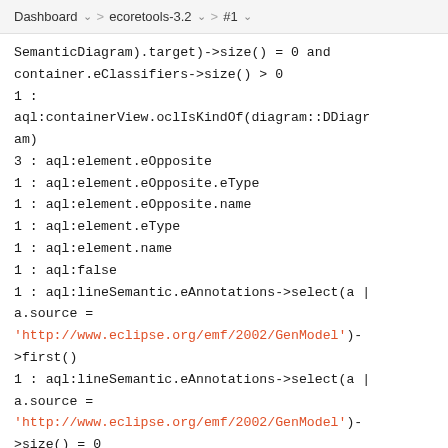Dashboard > ecoretools-3.2 > #1
SemanticDiagram).target)->size() = 0 and
container.eClassifiers->size() > 0
1 :
aql:containerView.oclIsKindOf(diagram::DDiagram)
3 : aql:element.eOpposite
1 : aql:element.eOpposite.eType
1 : aql:element.eOpposite.name
1 : aql:element.eType
1 : aql:element.name
1 : aql:false
1 : aql:lineSemantic.eAnnotations->select(a | a.source = 'http://www.eclipse.org/emf/2002/GenModel')->first()
1 : aql:lineSemantic.eAnnotations->select(a | a.source = 'http://www.eclipse.org/emf/2002/GenModel')->size() = 0